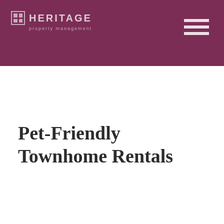HERITAGE Property Management
Pet-Friendly Townhome Rentals